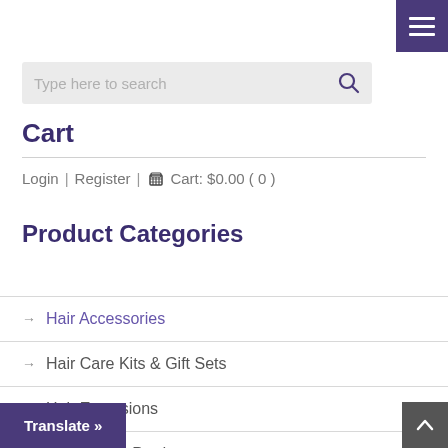[Figure (screenshot): Purple menu hamburger button in top right corner]
Type here to search
Cart
Login | Register | Cart: $0.00 ( 0 )
Product Categories
→ Hair Accessories
→ Hair Care Kits & Gift Sets
→ Hair Extensions
→ Hair Styling Products
With Hair Attached For
Translate »